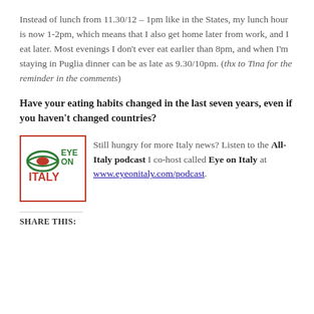Instead of lunch from 11.30/12 – 1pm like in the States, my lunch hour is now 1-2pm, which means that I also get home later from work, and I eat later. Most evenings I don't ever eat earlier than 8pm, and when I'm staying in Puglia dinner can be as late as 9.30/10pm. (thx to Tina for the reminder in the comments)
Have your eating habits changed in the last seven years, even if you haven't changed countries?
[Figure (logo): Eye on Italy logo: green oval eye shape with red pupil, text 'EYE ON ITALY' in green and red, inside a red-bordered square]
Still hungry for more Italy news? Listen to the All-Italy podcast I co-host called Eye on Italy at www.eyeonitaly.com/podcast.
SHARE THIS: